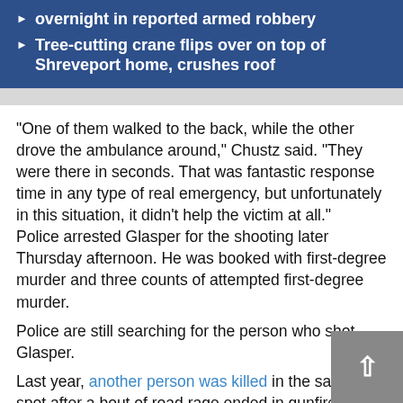overnight in reported armed robbery
Tree-cutting crane flips over on top of Shreveport home, crushes roof
"One of them walked to the back, while the other drove the ambulance around," Chustz said. "They were there in seconds. That was fantastic response time in any type of real emergency, but unfortunately in this situation, it didn't help the victim at all."
Police arrested Glasper for the shooting later Thursday afternoon. He was booked with first-degree murder and three counts of attempted first-degree murder.
Police are still searching for the person who shot Glasper.
Last year, another person was killed in the same spot after a bout of road rage ended in gunfire at the car wash.